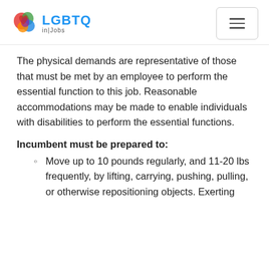LGBTQ in|Jobs
The physical demands are representative of those that must be met by an employee to perform the essential function to this job. Reasonable accommodations may be made to enable individuals with disabilities to perform the essential functions.
Incumbent must be prepared to:
Move up to 10 pounds regularly, and 11-20 lbs frequently, by lifting, carrying, pushing, pulling, or otherwise repositioning objects. Exerting